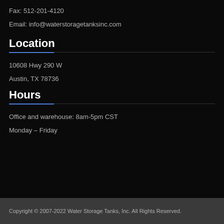Fax: 512-201-4120
Email: info@waterstoragetanksinc.com
Location
10608 Hwy 290 W
Austin, TX 78736
Hours
Office and warehouse: 8am-5pm CST
Monday – Friday
Copyright © 2007-2022 Water Storage Tanks, Inc. All Rights Reserved.